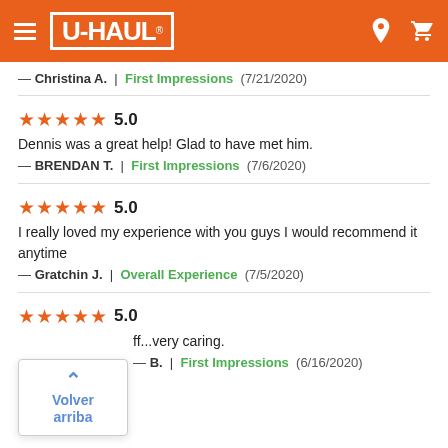U-HAUL
— Christina A. | First Impressions (7/21/2020)
★★★★★ 5.0
Dennis was a great help! Glad to have met him.
— BRENDAN T. | First Impressions (7/6/2020)
★★★★★ 5.0
I really loved my experience with you guys I would recommend it anytime
— Gratchin J. | Overall Experience (7/5/2020)
★★★★★ 5.0
ff...very caring.
— B. | First Impressions (6/16/2020)